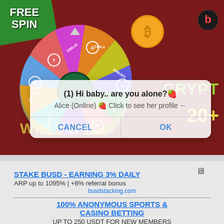[Figure (screenshot): Casino/crypto gambling website banner showing a colorful spin wheel, Bitcoin coin graphic, green 'FREE SPIN' banner, 'WIN 5 BTC' text, 'CRYPT' and '20+' text on dark red background]
(1) Hi baby.. are you alone?🍓
Alice (Online) 🍓 Click to see her profile ←
CANCEL
OK
STAKE BUSD - EARNING 3% DAILY
ARP up to 1095% | +8% referral bonus
busdstacking.com
100% ANONYMOUS SPORTS & CASINO BETTING
UP TO 250 USDT FOR NEW MEMBERS